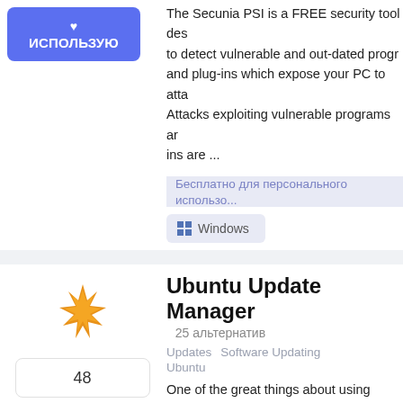The Secunia PSI is a FREE security tool designed to detect vulnerable and out-dated programs and plug-ins which expose your PC to attacks. Attacks exploiting vulnerable programs and plug-ins are ...
использую
Бесплатно для персонального использования
[Figure (screenshot): Windows platform tag button]
Ubuntu Update Manager
25 альтернатив
Updates  Software Updating  Ubuntu
One of the great things about using open source software is the frequency with which bugs are fixed, security holes are patched, and new
[Figure (illustration): Orange starburst/gear icon for Ubuntu Update Manager]
48
использую